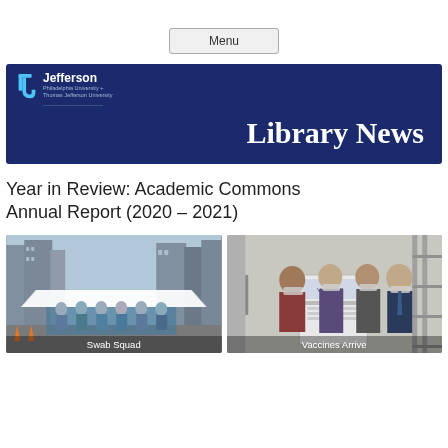Menu
[Figure (illustration): Jefferson University Library News banner — dark navy blue background with Jefferson logo (stylized J) and institution name top-left, large white serif bold text 'Library News' centered-right]
Year in Review: Academic Commons Annual Report (2020 – 2021)
[Figure (photo): Outdoor photo of a group of healthcare workers in scrubs and masks standing under a white tent structure in an urban setting with tall buildings in background. Caption: Swab Squad]
[Figure (photo): Indoor photo of four people wearing masks posing with a large cardboard box/cooler, likely containing vaccines. Caption: Vaccines Arrive]